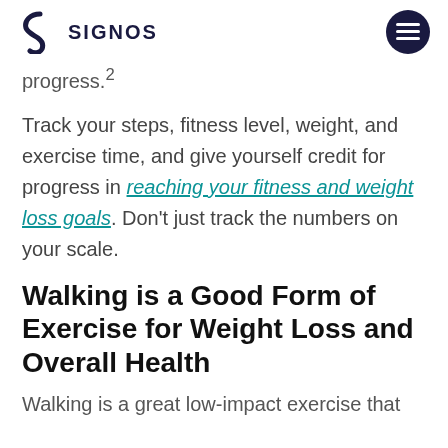SIGNOS
progress.²
Track your steps, fitness level, weight, and exercise time, and give yourself credit for progress in reaching your fitness and weight loss goals. Don't just track the numbers on your scale.
Walking is a Good Form of Exercise for Weight Loss and Overall Health
Walking is a great low-impact exercise that